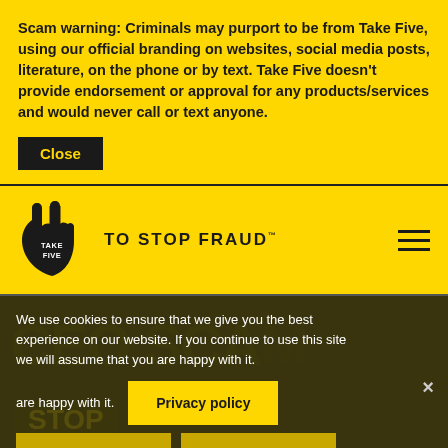Scam warning: Criminals may purport to be from Take Five, using our official branding on websites, social media posts, literature, on the phone or by text. Take Five doesn't provide endorsement or approval for any products/services and would never call or text anyone.
Close
[Figure (logo): Take Five To Stop Fraud logo — a black hand with three raised fingers and 'TAKE FIVE' text, beside 'TO STOP FRAUD' text]
We use cookies to ensure that we give you the best experience on our website. If you continue to use this site we will assume that you are happy with it.
Privacy policy
Accept
Decline
CEO SCAM
STOP